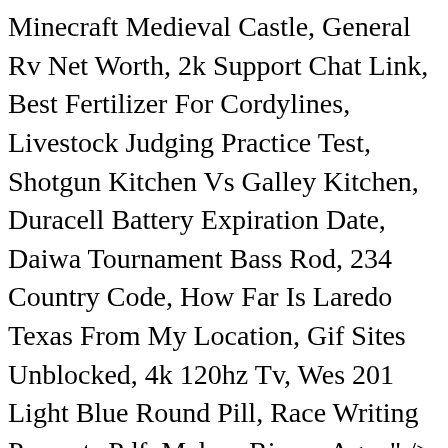Minecraft Medieval Castle, General Rv Net Worth, 2k Support Chat Link, Best Fertilizer For Cordylines, Livestock Judging Practice Test, Shotgun Kitchen Vs Galley Kitchen, Duracell Battery Expiration Date, Daiwa Tournament Bass Rod, 234 Country Code, How Far Is Laredo Texas From My Location, Gif Sites Unblocked, 4k 120hz Tv, Wes 201 Light Blue Round Pill, Race Writing Prompts Pdf, Melora Rivera Age, " /> Join Yahoo Answers and get 100 points today. in the field, and a “silly” is any fielding position that is close to the Why don't libraries smell like bookstores? that requires the batter to act fast. of a duck egg which just so happens to be oval shaped like the number zero. This comes from the pseudonym of American journalist, Elizabeth Meriwether Gilmer, who wrote an advice column for which she often devised her own